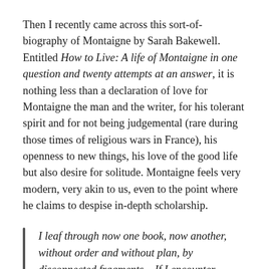Then I recently came across this sort-of-biography of Montaigne by Sarah Bakewell. Entitled How to Live: A life of Montaigne in one question and twenty attempts at an answer, it is nothing less than a declaration of love for Montaigne the man and the writer, for his tolerant spirit and for not being judgemental (rare during those times of religious wars in France), his openness to new things, his love of the good life but also desire for solitude. Montaigne feels very modern, very akin to us, even to the point where he claims to despise in-depth scholarship.
I leaf through now one book, now another, without order and without plan, by disconnected fragments... If I encounter difficulties in reading, I do not